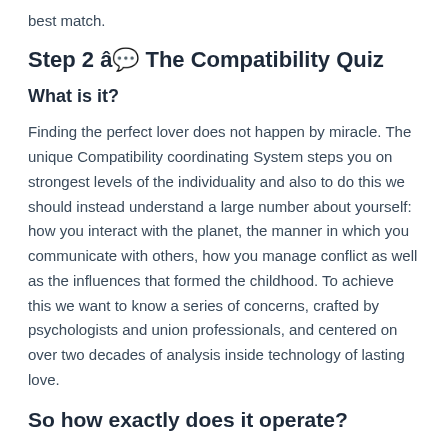best match.
Step 2 â The Compatibility Quiz
What is it?
Finding the perfect lover does not happen by miracle. The unique Compatibility coordinating System steps you on strongest levels of the individuality and also to do this we should instead understand a large number about yourself: how you interact with the planet, the manner in which you communicate with others, how you manage conflict as well as the influences that formed the childhood. To achieve this we want to know a series of concerns, crafted by psychologists and union professionals, and centered on over two decades of analysis inside technology of lasting love.
So how exactly does it operate?